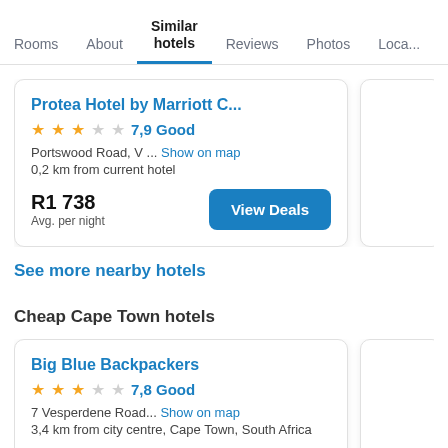Rooms | About | Similar hotels | Reviews | Photos | Loca...
Protea Hotel by Marriott C...
★★★☆☆ 7,9 Good
Portswood Road, V ... Show on map
0.2 km from current hotel
R1 738
Avg. per night
View Deals
See more nearby hotels
Cheap Cape Town hotels
Big Blue Backpackers
★★★☆☆ 7,8 Good
7 Vesperdene Road... Show on map
3.4 km from city centre, Cape Town, South Africa